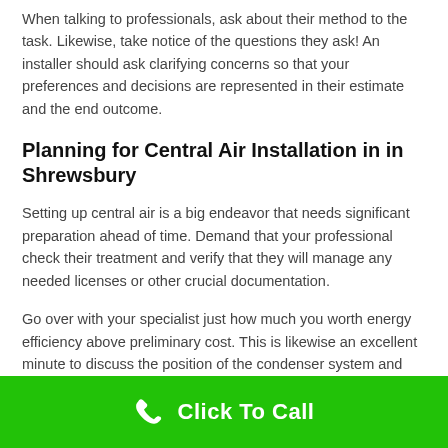When talking to professionals, ask about their method to the task. Likewise, take notice of the questions they ask! An installer should ask clarifying concerns so that your preferences and decisions are represented in their estimate and the end outcome.
Planning for Central Air Installation in in Shrewsbury
Setting up central air is a big endeavor that needs significant preparation ahead of time. Demand that your professional check their treatment and verify that they will manage any needed licenses or other crucial documentation.
Go over with your specialist just how much you worth energy efficiency above preliminary cost. This is likewise an excellent minute to discuss the position of the condenser system and the kind of thermostat you choose.
Click To Call